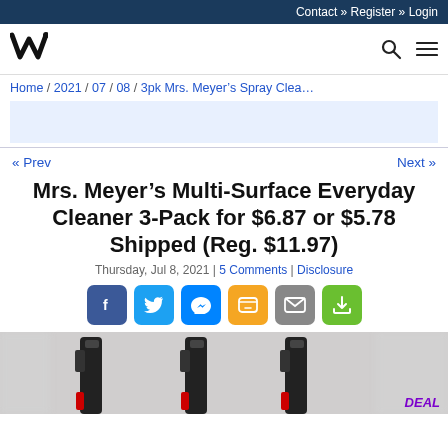Contact » Register » Login
[Figure (logo): V-shaped logo mark in black]
Home / 2021 / 07 / 08 / 3pk Mrs. Meyer's Spray Clea...
« Prev    Next »
Mrs. Meyer's Multi-Surface Everyday Cleaner 3-Pack for $6.87 or $5.78 Shipped (Reg. $11.97)
Thursday, Jul 8, 2021 | 5 Comments | Disclosure
[Figure (infographic): Social share buttons: Facebook, Twitter, Messenger, SMS, Email, Share]
[Figure (photo): Three Mrs. Meyer's Multi-Surface Everyday Cleaner spray bottles shown side by side with DEAL badge]